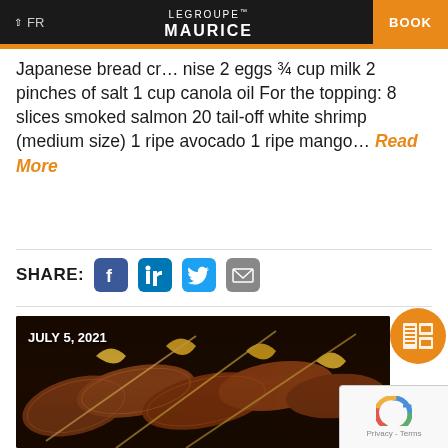FR | LE GROUPE MAURICE | BOOK
Japanese bread cr... nise 2 eggs 3/4 cup milk 2 pinches of salt 1 cup canola oil For the topping: 8 slices smoked salmon 20 tail-off white shrimp (medium size) 1 ripe avocado 1 ripe mango... Read More
SHARE:
[Figure (photo): Food photo showing grilled/kebab meat skewers with onions in a dark pan, dated JULY 5, 2021]
[Figure (other): reCAPTCHA widget, Privacy - Terms]